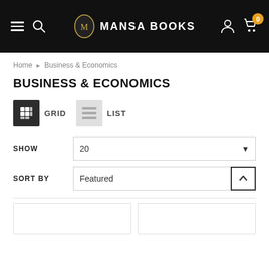MANSA BOOKS
Home › Business & Economics
BUSINESS & ECONOMICS
GRID  LIST
SHOW  20
SORT BY  Featured